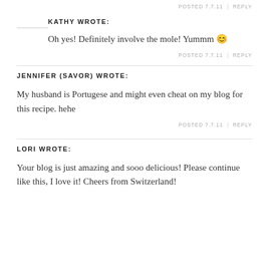POSTED 7.7.11 | REPLY
KATHY WROTE:
Oh yes! Definitely involve the mole! Yummm 🙂
POSTED 7.7.11 | REPLY
JENNIFER (SAVOR) WROTE:
My husband is Portugese and might even cheat on my blog for this recipe. hehe
POSTED 7.7.11 | REPLY
LORI WROTE:
Your blog is just amazing and sooo delicious! Please continue like this, I love it! Cheers from Switzerland!